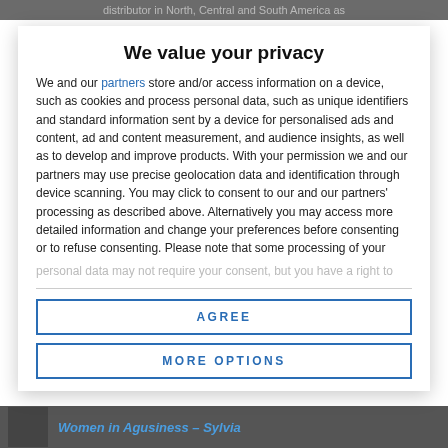distributor in North, Central and South America as
We value your privacy
We and our partners store and/or access information on a device, such as cookies and process personal data, such as unique identifiers and standard information sent by a device for personalised ads and content, ad and content measurement, and audience insights, as well as to develop and improve products. With your permission we and our partners may use precise geolocation data and identification through device scanning. You may click to consent to our and our partners' processing as described above. Alternatively you may access more detailed information and change your preferences before consenting or to refuse consenting. Please note that some processing of your personal data may not require your consent, but you have a right to
AGREE
MORE OPTIONS
Women in Agusiness – Sylvia